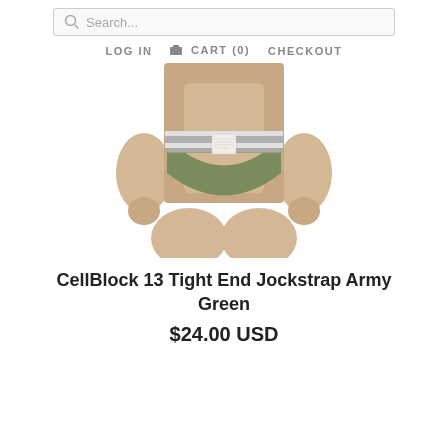Search...
LOG IN   CART (0)   CHECKOUT
[Figure (photo): Man wearing an army green jockstrap with grey and white striped waistband, showing torso from waist to mid-thigh against white background]
CellBlock 13 Tight End Jockstrap Army Green
$24.00 USD